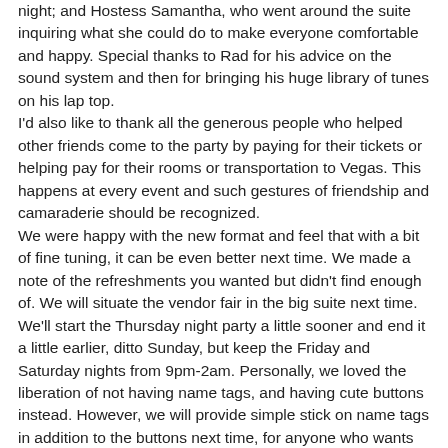night; and Hostess Samantha, who went around the suite inquiring what she could do to make everyone comfortable and happy. Special thanks to Rad for his advice on the sound system and then for bringing his huge library of tunes on his lap top.
I'd also like to thank all the generous people who helped other friends come to the party by paying for their tickets or helping pay for their rooms or transportation to Vegas. This happens at every event and such gestures of friendship and camaraderie should be recognized.
We were happy with the new format and feel that with a bit of fine tuning, it can be even better next time. We made a note of the refreshments you wanted but didn't find enough of. We will situate the vendor fair in the big suite next time. We'll start the Thursday night party a little sooner and end it a little earlier, ditto Sunday, but keep the Friday and Saturday nights from 9pm-2am. Personally, we loved the liberation of not having name tags, and having cute buttons instead. However, we will provide simple stick on name tags in addition to the buttons next time, for anyone who wants one. Not everyone signed our "stations of the spanked" tablets when they played, but enough signed for me to determine our two winners. Philogynous won for most